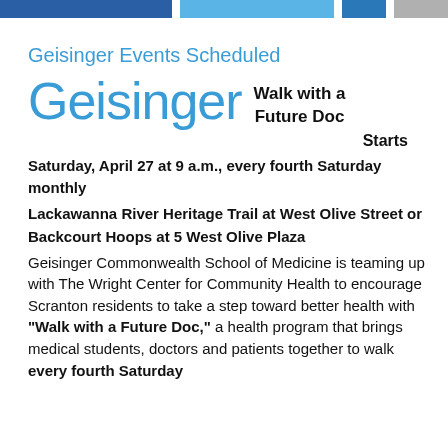[colored navigation bar strips]
Geisinger Events Scheduled
[Figure (logo): Geisinger logo in large blue text]
Walk with a Future Doc

Starts
Saturday, April 27 at 9 a.m., every fourth Saturday monthly
Lackawanna River Heritage Trail at West Olive Street or Backcourt Hoops at 5 West Olive Plaza
Geisinger Commonwealth School of Medicine is teaming up with The Wright Center for Community Health to encourage Scranton residents to take a step toward better health with "Walk with a Future Doc," a health program that brings medical students, doctors and patients together to walk every fourth Saturday